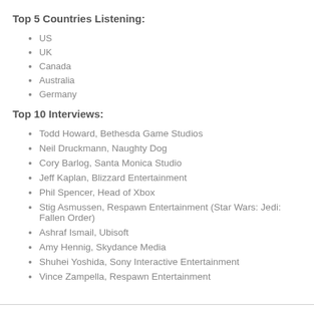Top 5 Countries Listening:
US
UK
Canada
Australia
Germany
Top 10 Interviews:
Todd Howard, Bethesda Game Studios
Neil Druckmann, Naughty Dog
Cory Barlog, Santa Monica Studio
Jeff Kaplan, Blizzard Entertainment
Phil Spencer, Head of Xbox
Stig Asmussen, Respawn Entertainment (Star Wars: Jedi: Fallen Order)
Ashraf Ismail, Ubisoft
Amy Hennig, Skydance Media
Shuhei Yoshida, Sony Interactive Entertainment
Vince Zampella, Respawn Entertainment